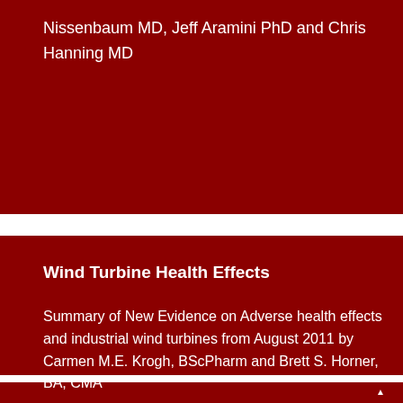Nissenbaum MD, Jeff Aramini PhD and Chris Hanning MD
Wind Turbine Health Effects
Summary of New Evidence on Adverse health effects and industrial wind turbines from August 2011 by Carmen M.E. Krogh, BScPharm and Brett S. Horner, BA, CMA